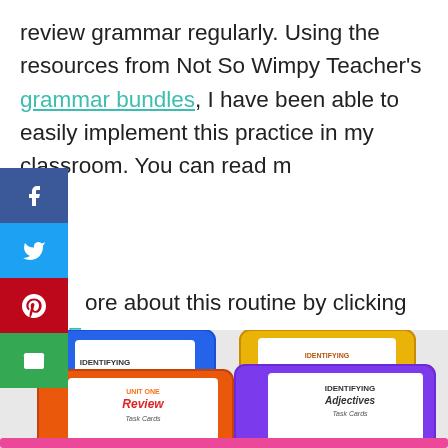review grammar regularly. Using the resources from Not So Wimpy Teacher's grammar bundles, I have been able to easily implement this practice in my classroom. You can read more about this routine by clicking HERE.
[Figure (photo): Photo of multiple colorful plastic task card boxes labeled with grammar topics: Identifying Pronouns, Identifying Adverbs, Unit One Review, Identifying Adjectives, Irregular Plural Nouns, Regular Plural Nouns, and Identifying (another set visible at bottom)]